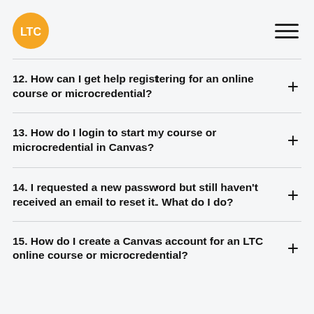LTC
12. How can I get help registering for an online course or microcredential?
13. How do I login to start my course or microcredential in Canvas?
14. I requested a new password but still haven't received an email to reset it. What do I do?
15. How do I create a Canvas account for an LTC online course or microcredential?